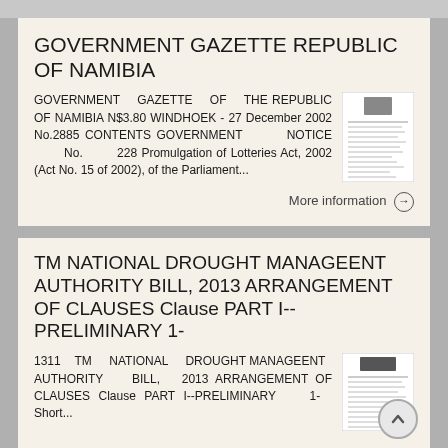GOVERNMENT GAZETTE REPUBLIC OF NAMIBIA
GOVERNMENT GAZETTE OF THE REPUBLIC OF NAMIBIA N$3.80 WINDHOEK - 27 December 2002 No.2885 CONTENTS GOVERNMENT NOTICE No. 228 Promulgation of Lotteries Act, 2002 (Act No. 15 of 2002), of the Parliament...
More information →
TM NATIONAL DROUGHT MANAGEENT AUTHORITY BILL, 2013 ARRANGEMENT OF CLAUSES Clause PART I--PRELIMINARY 1-
1311 TM NATIONAL DROUGHT MANAGEENT AUTHORITY BILL, 2013 ARRANGEMENT OF CLAUSES Clause PART I--PRELIMINARY 1- Short...